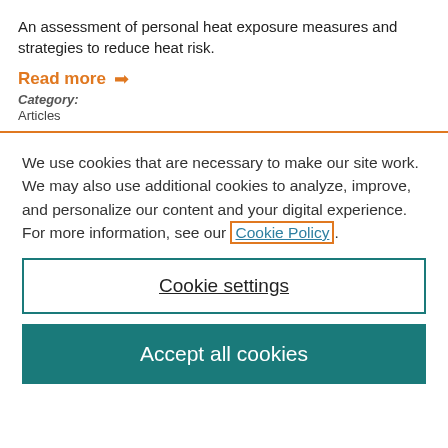An assessment of personal heat exposure measures and strategies to reduce heat risk.
Read more →
Category: Articles
We use cookies that are necessary to make our site work. We may also use additional cookies to analyze, improve, and personalize our content and your digital experience. For more information, see our Cookie Policy.
Cookie settings
Accept all cookies